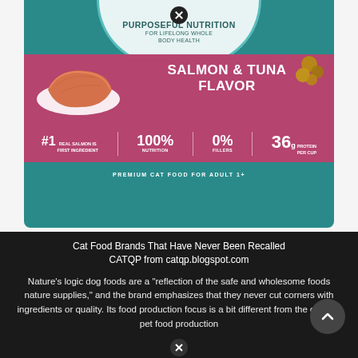[Figure (photo): Cat food bag product image - Salmon & Tuna flavor premium cat food with teal/teal packaging, pink band, showing salmon piece, stats: #1 Real Salmon is First Ingredient, 100% Nutrition, 0% Fillers, 36g Protein Per Cup. Premium Cat Food for Adult 1+. Top label reads PURPOSEFUL NUTRITION FOR LIFELONG WHOLE BODY HEALTH.]
Cat Food Brands That Have Never Been Recalled
CATQP from catqp.blogspot.com
Nature’s logic dog foods are a “reflection of the safe and wholesome foods nature supplies,” and the brand emphasizes that they never cut corners with ingredients or quality. Its food production focus is a bit different from the general pet food production focus. This dog food has never been recalled since